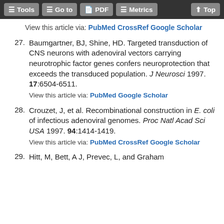Tools  Go to  PDF  Metrics  Top
View this article via: PubMed CrossRef Google Scholar
27. Baumgartner, BJ, Shine, HD. Targeted transduction of CNS neurons with adenoviral vectors carrying neurotrophic factor genes confers neuroprotection that exceeds the transduced population. J Neurosci 1997. 17:6504-6511.
View this article via: PubMed Google Scholar
28. Crouzet, J, et al. Recombinational construction in E. coli of infectious adenoviral genomes. Proc Natl Acad Sci USA 1997. 94:1414-1419.
View this article via: PubMed CrossRef Google Scholar
29. Hitt, M, Bett, A J, Prevec, L, and Graham